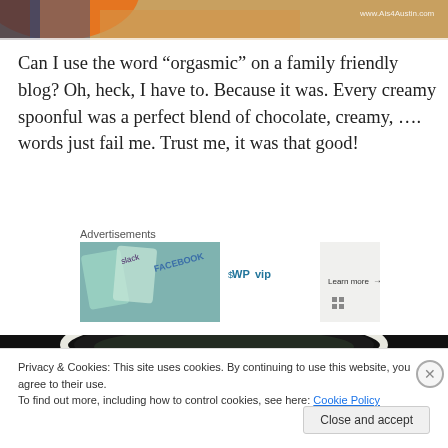[Figure (photo): Top cropped image of what appears to be food with orange/colorful elements, with watermark 'www.Ais4Austin.com' in top right corner]
Can I use the word “orgasmic” on a family friendly blog? Oh, heck, I have to. Because it was. Every creamy spoonful was a perfect blend of chocolate, creamy, …. words just fail me. Trust me, it was that good!
Advertisements
[Figure (screenshot): WordPress VIP advertisement banner showing WP VIP logo and various app icons with 'Learn more' button]
[Figure (photo): Bottom portion of a food photo showing a white bowl/plate against dark background]
Privacy & Cookies: This site uses cookies. By continuing to use this website, you agree to their use.
To find out more, including how to control cookies, see here: Cookie Policy